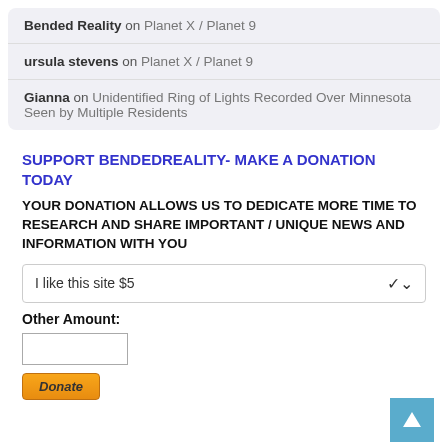Bended Reality on Planet X / Planet 9
ursula stevens on Planet X / Planet 9
Gianna on Unidentified Ring of Lights Recorded Over Minnesota Seen by Multiple Residents
SUPPORT BENDEDREALITY- MAKE A DONATION TODAY
YOUR DONATION ALLOWS US TO DEDICATE MORE TIME TO RESEARCH AND SHARE IMPORTANT / UNIQUE NEWS AND INFORMATION WITH YOU
I like this site $5
Other Amount:
Donate